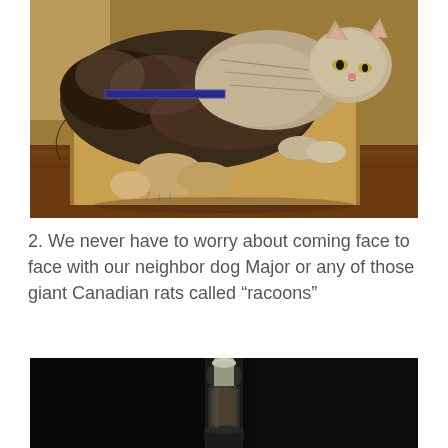[Figure (photo): A cat lying on top of a dog inside a cardboard box on a wooden surface. The cat is striped/tabby and the dog appears to be a dark-colored medium-large breed. Both are resting together in the box.]
2. We never have to worry about coming face to face with our neighbor dog Major or any of those giant Canadian rats called “racoons”
[Figure (photo): A dark image showing what appears to be a bird feeder or similar cylindrical object lit from above against a very dark/black background.]